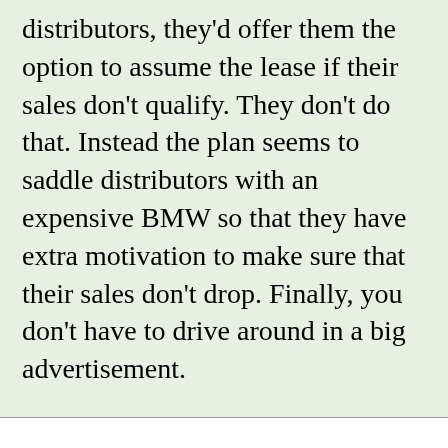distributors, they'd offer them the option to assume the lease if their sales don't qualify. They don't do that. Instead the plan seems to saddle distributors with an expensive BMW so that they have extra motivation to make sure that their sales don't drop. Finally, you don't have to drive around in a big advertisement.